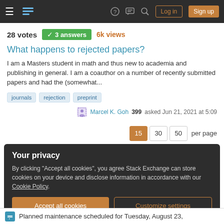Navigation bar with logo, help, chat, search, Log in, Sign up
28 votes  ✓ 3 answers  6k views
What happens to rejected papers?
I am a Masters student in math and thus new to academia and publishing in general. I am a coauthor on a number of recently submitted papers and had the (somewhat...
journals
rejection
preprint
Marcel K. Goh 399 asked Jun 21, 2021 at 5:09
15  30  50  per page
Your privacy
By clicking "Accept all cookies", you agree Stack Exchange can store cookies on your device and disclose information in accordance with our Cookie Policy.
Accept all cookies   Customize settings
Planned maintenance scheduled for Tuesday, August 23,